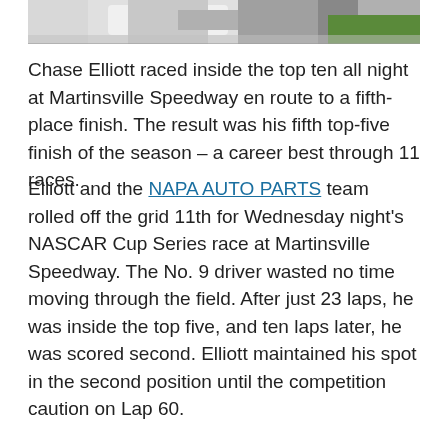[Figure (photo): Top portion of a NASCAR race car, showing the hood and windshield area, with grass visible in the background on the right side.]
Chase Elliott raced inside the top ten all night at Martinsville Speedway en route to a fifth-place finish. The result was his fifth top-five finish of the season – a career best through 11 races.
Elliott and the NAPA AUTO PARTS team rolled off the grid 11th for Wednesday night's NASCAR Cup Series race at Martinsville Speedway. The No. 9 driver wasted no time moving through the field. After just 23 laps, he was inside the top five, and ten laps later, he was scored second. Elliott maintained his spot in the second position until the competition caution on Lap 60.